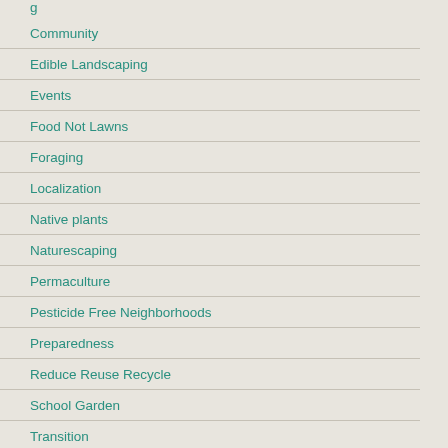Community
Edible Landscaping
Events
Food Not Lawns
Foraging
Localization
Native plants
Naturescaping
Permaculture
Pesticide Free Neighborhoods
Preparedness
Reduce Reuse Recycle
School Garden
Transition